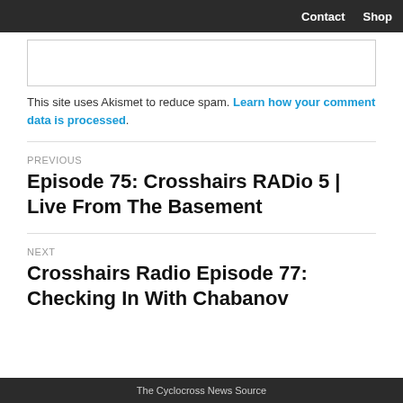Contact  Shop
This site uses Akismet to reduce spam. Learn how your comment data is processed.
PREVIOUS
Episode 75: Crosshairs RADio 5 | Live From The Basement
NEXT
Crosshairs Radio Episode 77: Checking In With Chabanov
The Cyclocross News Source